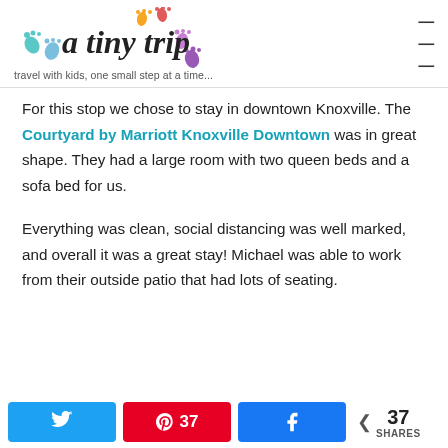[Figure (logo): A Tiny Trip blog logo with colorful footprints and cursive text]
travel with kids, one small step at a time...
For this stop we chose to stay in downtown Knoxville. The Courtyard by Marriott Knoxville Downtown was in great shape. They had a large room with two queen beds and a sofa bed for us.
Everything was clean, social distancing was well marked, and overall it was a great stay! Michael was able to work from their outside patio that had lots of seating.
Twitter share button | Pinterest 37 shares | Facebook share button | < 37 SHARES